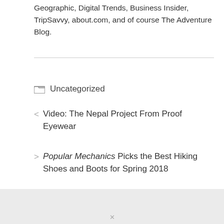Geographic, Digital Trends, Business Insider, TripSavvy, about.com, and of course The Adventure Blog.
Uncategorized
< Video: The Nepal Project From Proof Eyewear
> Popular Mechanics Picks the Best Hiking Shoes and Boots for Spring 2018